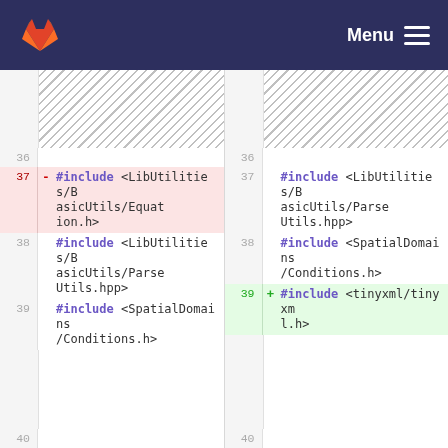GitLab diff view — Menu
[Figure (screenshot): Code diff view showing two columns (old and new). Lines 36-40 displayed. Line 37 old: deleted '#include <LibUtilities/BasicUtils/Equation.h>'. Line 38 old / 37 new: '#include <LibUtilities/BasicUtils/ParseUtils.hpp>'. Line 39 old / 38 new: '#include <SpatialDomains/Conditions.h>'. Line 39 new: added '#include <tinyxml/tinyxml.h>'. Lines above 36 show hatch pattern indicating collapsed code.]